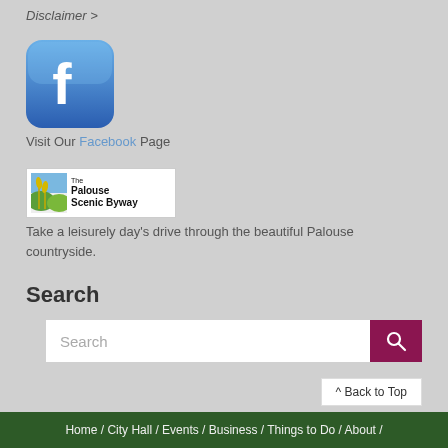Disclaimer >
[Figure (logo): Facebook logo icon — blue rounded square with white letter f]
Visit Our Facebook Page
[Figure (logo): The Palouse Scenic Byway logo with wheat/landscape graphic and bold text]
Take a leisurely day's drive through the beautiful Palouse countryside.
Search
Search (search input field with search button)
^ Back to Top
Home / City Hall / Events / Business / Things to Do / About /